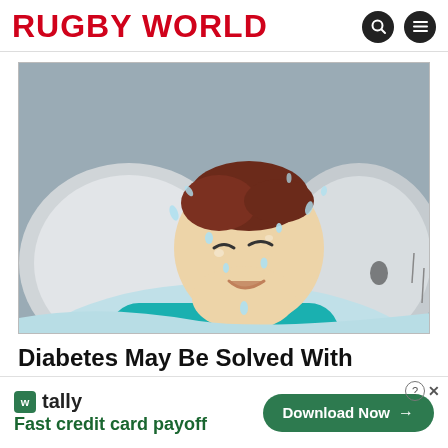RUGBY WORLD
[Figure (illustration): Cartoon illustration of a person lying in bed sweating heavily, head tilted back on a pillow, wearing a teal shirt, with sweat drops flying off face and forehead.]
Diabetes May Be Solved With Treatments Many May Not Know About
[Figure (infographic): Advertisement banner for Tally app: logo with green square icon, text 'tally', subtext 'Fast credit card payoff', green Download Now button with arrow. Close button (X) and help (?) icons in top right.]